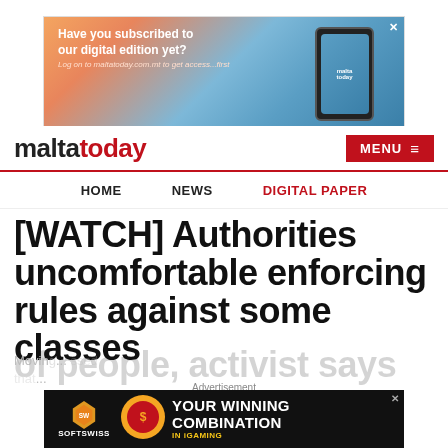[Figure (other): Top advertisement banner: 'Have you subscribed to our digital edition yet? Log on to maltatoday.com.mt to get access...first' with a photo of someone holding a smartphone displaying the maltatoday website, with a scenic poolside background. Close button X in top right.]
maltatoday  MENU
HOME   NEWS   DIGITAL PAPER
[WATCH] Authorities uncomfortable enforcing rules against some classes of people, activist says
Advertisement
[Figure (other): Bottom advertisement banner for SOFTSWISS iGaming platform: 'YOUR WINNING COMBINATION IN iGAMING' with SOFTSWISS logo and a gaming badge icon on a dark background.]
Moving... ssed that...